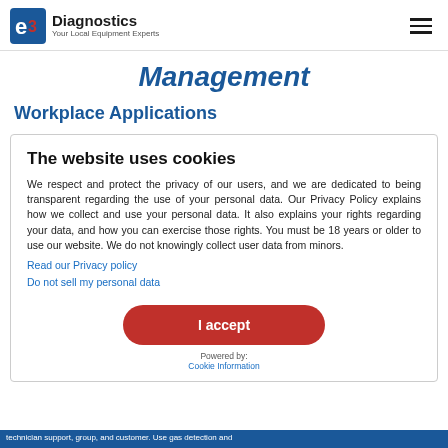e3 Diagnostics — Your Local Equipment Experts
Management
Workplace Applications
The website uses cookies

We respect and protect the privacy of our users, and we are dedicated to being transparent regarding the use of your personal data. Our Privacy Policy explains how we collect and use your personal data. It also explains your rights regarding your data, and how you can exercise those rights. You must be 18 years or older to use our website. We do not knowingly collect user data from minors.
Read our Privacy policy
Do not sell my personal data

I accept

Powered by:
Cookie Information